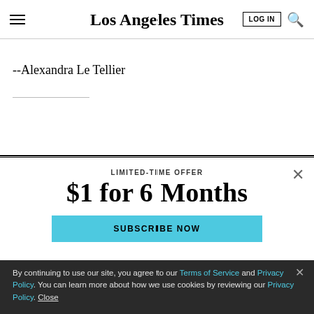Los Angeles Times
--Alexandra Le Tellier
[Figure (screenshot): Subscription paywall modal for Los Angeles Times. LIMITED-TIME OFFER, $1 for 6 Months, SUBSCRIBE NOW button in teal.]
By continuing to use our site, you agree to our Terms of Service and Privacy Policy. You can learn more about how we use cookies by reviewing our Privacy Policy. Close